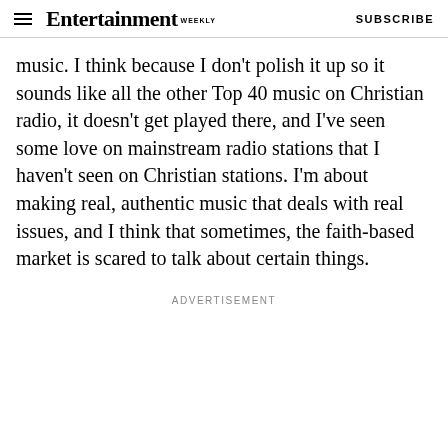Entertainment Weekly  SUBSCRIBE
music. I think because I don't polish it up so it sounds like all the other Top 40 music on Christian radio, it doesn't get played there, and I've seen some love on mainstream radio stations that I haven't seen on Christian stations. I'm about making real, authentic music that deals with real issues, and I think that sometimes, the faith-based market is scared to talk about certain things.
ADVERTISEMENT